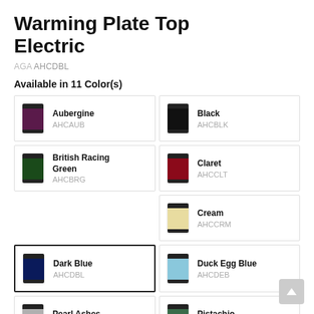Warming Plate Top Electric
AGA AHCDBL
Available in 11 Color(s)
Aubergine AHCAUB
Black AHCBLK
British Racing Green AHCBRG
Claret AHCCLT
Cream AHCCRM
Dark Blue AHCDBL
Duck Egg Blue AHCDEB
Pearl Ashes AHCPAS
Pistachio AHCPIS